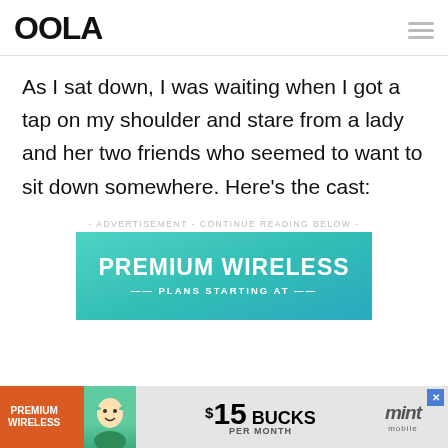OOLA
As I sat down, I was waiting when I got a tap on my shoulder and stare from a lady and her two friends who seemed to want to sit down somewhere. Here's the cast:
- ADVERTISEMENT - CONTINUE READING BELOW -
[Figure (screenshot): Mint Mobile advertisement banner: teal/turquoise background with text PREMIUM WIRELESS and PLANS STARTING AT]
[Figure (screenshot): Bottom ad bar: Mint Mobile Premium Wireless ad showing $15 BUCKS PER MONTH with mascot character]